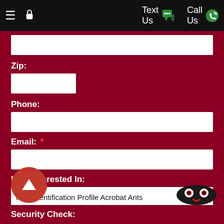Text Us  Call Us
Zip:
Phone:
Email: *
I Am Interested In:
Pest Identification Profile Acrobat Ants
Comments:
Security Check: